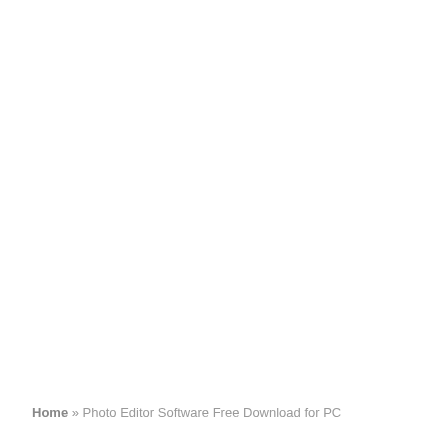Home » Photo Editor Software Free Download for PC